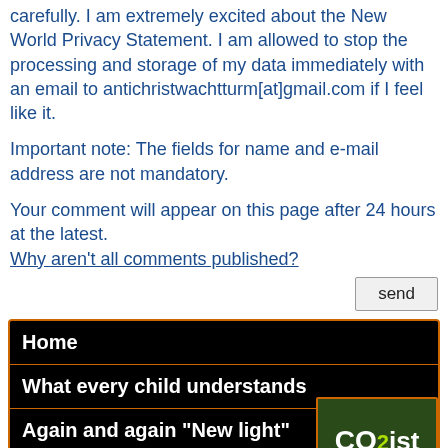carefully. I am extremely excited about the New World Privacy Statement. I am allowed to stop the processing and storage of my data immediately with an email to antichristwachtturm[at]gmail.com if I feel like it.
Important note: The fields for name and e-mail address are not mandatory.
Your comment will appear on this page after 24 hours at the latest.
Why aren't all comments published?
Home
What every child understands
Again and again "New light"
On the road like Jehova's Witnesses
[Figure (logo): CO2 ist Leben badge/logo with green and white text on dark green background]